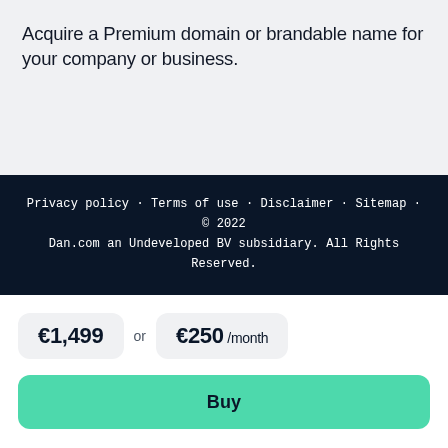Acquire a Premium domain or brandable name for your company or business.
Privacy policy · Terms of use · Disclaimer · Sitemap · © 2022 Dan.com an Undeveloped BV subsidiary. All Rights Reserved.
€1,499 or €250 /month
Buy